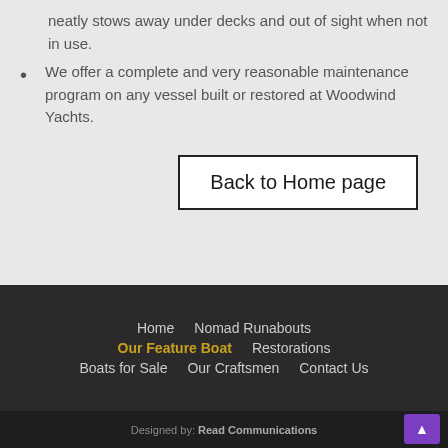neatly stows away under decks and out of sight when not in use.
We offer a complete and very reasonable maintenance program on any vessel built or restored at Woodwind Yachts.
Back to Home page
Home   Nomad Runabouts   Our Feature Boat   Restorations   Boats for Sale   Our Craftsmen   Contact Us
Designed by: Read Communications